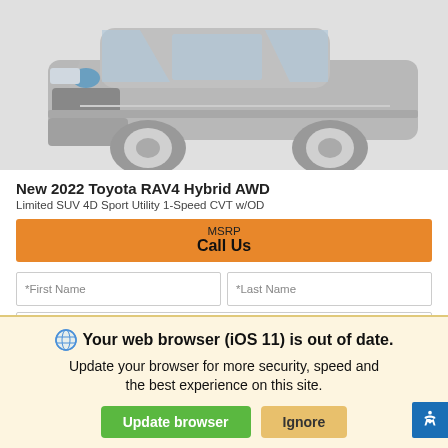[Figure (photo): Front view of a silver 2022 Toyota RAV4 Hybrid AWD SUV on a light grey background]
New 2022 Toyota RAV4 Hybrid AWD
Limited SUV 4D Sport Utility 1-Speed CVT w/OD
MSRP
Call Us
*First Name    *Last Name
*Email
⊙ Your web browser (iOS 11) is out of date.
Update your browser for more security, speed and the best experience on this site.
Update browser    Ignore